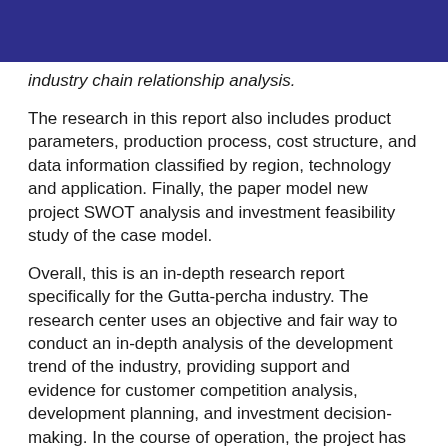industry chain relationship analysis.
The research in this report also includes product parameters, production process, cost structure, and data information classified by region, technology and application. Finally, the paper model new project SWOT analysis and investment feasibility study of the case model.
Overall, this is an in-depth research report specifically for the Gutta-percha industry. The research center uses an objective and fair way to conduct an in-depth analysis of the development trend of the industry, providing support and evidence for customer competition analysis, development planning, and investment decision-making. In the course of operation, the project has received support and assistance from technicians and marketing personnel in various links of the industry chain.